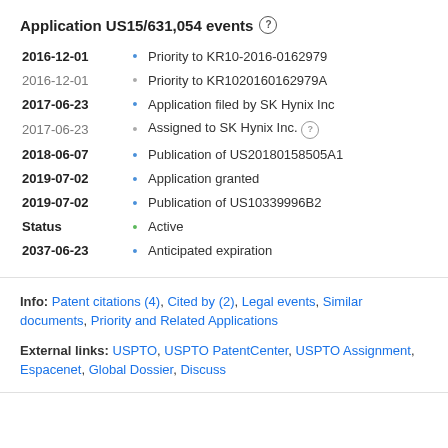Application US15/631,054 events
2016-12-01 • Priority to KR10-2016-0162979
2016-12-01 • Priority to KR1020160162979A
2017-06-23 • Application filed by SK Hynix Inc
2017-06-23 • Assigned to SK Hynix Inc.
2018-06-07 • Publication of US20180158505A1
2019-07-02 • Application granted
2019-07-02 • Publication of US10339996B2
Status • Active
2037-06-23 • Anticipated expiration
Info: Patent citations (4), Cited by (2), Legal events, Similar documents, Priority and Related Applications
External links: USPTO, USPTO PatentCenter, USPTO Assignment, Espacenet, Global Dossier, Discuss